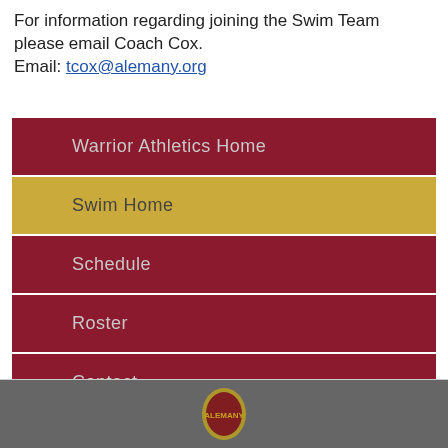For information regarding joining the Swim Team please email Coach Cox.
Email: tcox@alemany.org
Warrior Athletics Home
Swim Home
Schedule
Roster
Contact
[Figure (logo): Bishop Alemany school crest/logo at the bottom footer]